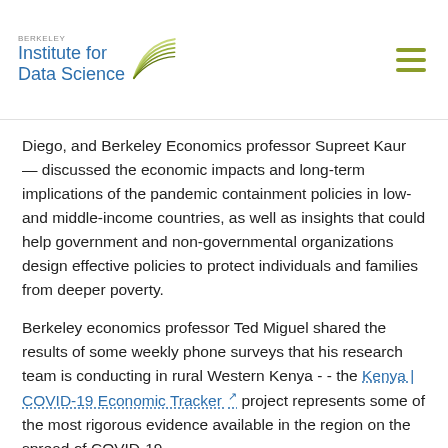Berkeley Institute for Data Science
Diego, and Berkeley Economics professor Supreet Kaur — discussed the economic impacts and long-term implications of the pandemic containment policies in low- and middle-income countries, as well as insights that could help government and non-governmental organizations design effective policies to protect individuals and families from deeper poverty.
Berkeley economics professor Ted Miguel shared the results of some weekly phone surveys that his research team is conducting in rural Western Kenya -- the Kenya | COVID-19 Economic Tracker project represents some of the most rigorous evidence available in the region on the spread of COVID-19